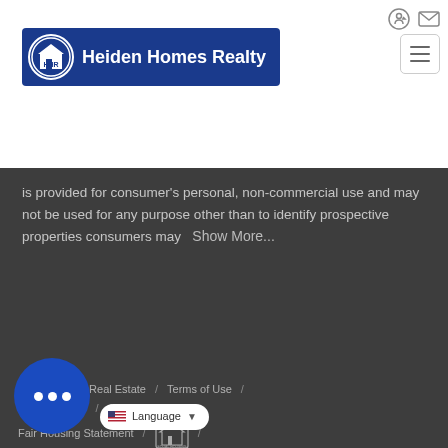[Figure (logo): Heiden Homes Realty logo: blue rectangle with white circular HHR icon and white bold text 'Heiden Homes Realty']
is provided for consumer's personal, non-commercial use and may not be used for any purpose other than to identify prospective properties consumers may   Show More...
© 2022 Inside Real Estate / Terms of Use / Privacy Policy / Accessibility / Fair Housing Statement / [Fair Housing Icon] / Language ▼